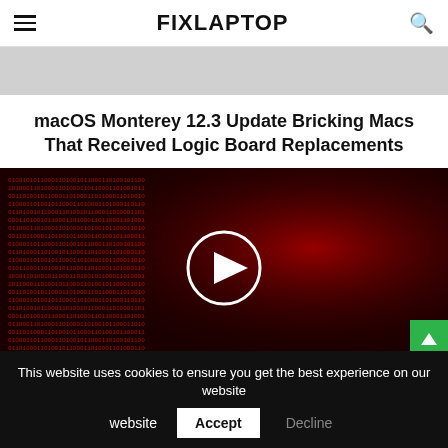FIXLAPTOP
[Figure (photo): Gray partial image banner at top of page]
macOS Monterey 12.3 Update Bricking Macs That Received Logic Board Replacements
[Figure (photo): Dark red-tinted image of a hooded figure with binary code overlaid, with a circular white play button in the center]
Google Uncovers 'Initial Access Broker' Working with Conti Ransomware Gang
This website uses cookies to ensure you get the best experience on our website